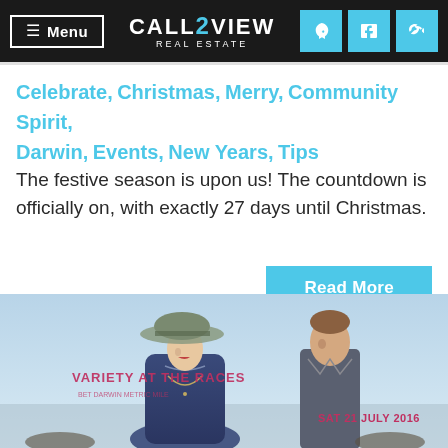≡ Menu | CALL 2 VIEW REAL ESTATE | f | phone
Celebrate, Christmas, Merry, Community Spirit, Darwin, Events, New Years, Tips
The festive season is upon us! The countdown is officially on, with exactly 27 days until Christmas.
Read More
[Figure (photo): Promotional image for 'Variety at the Races' event showing a glamorous woman in a large hat and a man in a suit, with text 'VARIETY AT THE RACES' and 'SAT 21 JULY 2016']